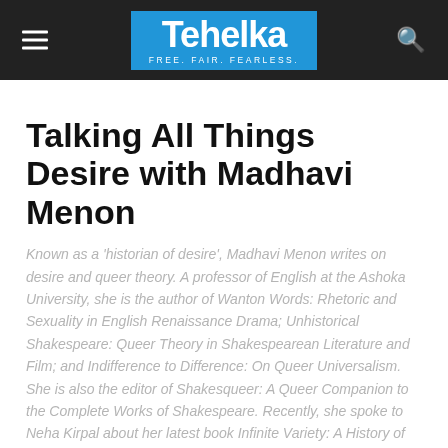Tehelka — FREE. FAIR. FEARLESS.
Talking All Things Desire with Madhavi Menon
Known as a 'historian of desire', Madhavi Menon writes on desire and queer theory. A professor of English at the Ashoka University, she is the author of Wanton Words: Rhetoric and Sexuality in English Renaissance Drama; Unhistorical Shakespeare: Queer Theory in Shakespearean Literature and Film; and Indifference to Difference: On Queer Universalism. She is also the editor of Shakesqueer: A Queer Companion to the Complete Works of Shakespeare. Recently, she spoke to Neha Kirpal about her latest book Infinite Variety: A History of Desire in India
By Neha Kirpal · July 3, 2018